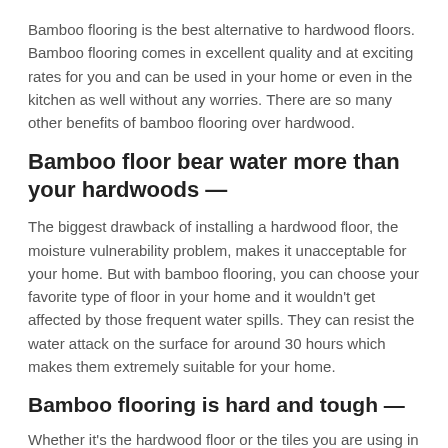Bamboo flooring is the best alternative to hardwood floors. Bamboo flooring comes in excellent quality and at exciting rates for you and can be used in your home or even in the kitchen as well without any worries. There are so many other benefits of bamboo flooring over hardwood.
Bamboo floor bear water more than your hardwoods —
The biggest drawback of installing a hardwood floor, the moisture vulnerability problem, makes it unacceptable for your home. But with bamboo flooring, you can choose your favorite type of floor in your home and it wouldn't get affected by those frequent water spills. They can resist the water attack on the surface for around 30 hours which makes them extremely suitable for your home.
Bamboo flooring is hard and tough —
Whether it's the hardwood floor or the tiles you are using in your home, you can choose any kind of flooring that will work fine...